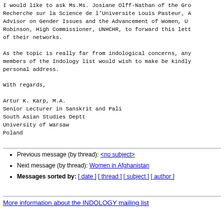I would like to ask Ms.Ms. Josiane Olff-Nathan of the Gro Recherche sur la Science de l'Universite Louis Pasteur, A Advisor on Gender Issues and the Advancement of Women, U Robinson, High Commissioner, UNHCHR, to forward this lett of their networks.

As the topic is really far from indological concerns, any members of the Indology list would wish to make be kindly personal address.

With regards,

Artur K. Karp, M.A.
Senior Lecturer in Sanskrit and Pali
South Asian Studies Deptt
University of Warsaw
Poland
Previous message (by thread): <no subject>
Next message (by thread): Women in Afghanistan
Messages sorted by: [ date ] [ thread ] [ subject ] [ author ]
More information about the INDOLOGY mailing list